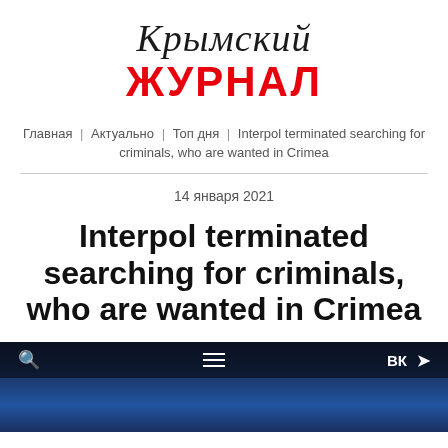[Figure (logo): Крымский Журнал logo — cursive black 'Крымский' over bold red 'ЖУРНАЛ']
Главная | Актуально | Топ дня | Interpol terminated searching for criminals, who are wanted in Crimea
14 января 2021
Interpol terminated searching for criminals, who are wanted in Crimea
[Figure (screenshot): Dark blue photo area with mobile navigation bar showing search icon, hamburger menu, VK and Telegram icons in white on dark background]